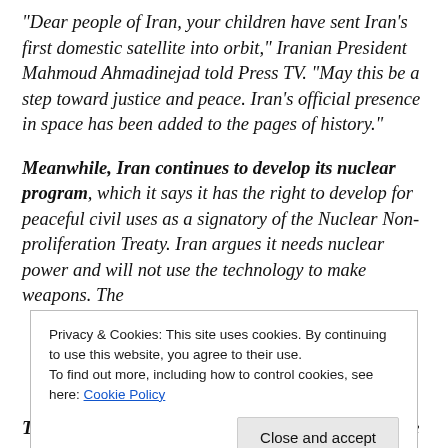“Dear people of Iran, your children have sent Iran’s first domestic satellite into orbit,” Iranian President Mahmoud Ahmadinejad told Press TV. “May this be a step toward justice and peace. Iran’s official presence in space has been added to the pages of history.”
Meanwhile, Iran continues to develop its nuclear program, which it says it has the right to develop for peaceful civil uses as a signatory of the Nuclear Non-proliferation Treaty. Iran argues it needs nuclear power and will not use the technology to make weapons. The
Privacy & Cookies: This site uses cookies. By continuing to use this website, you agree to their use.
To find out more, including how to control cookies, see here: Cookie Policy
Close and accept
This [Iranian satellite launch] I think highlights the